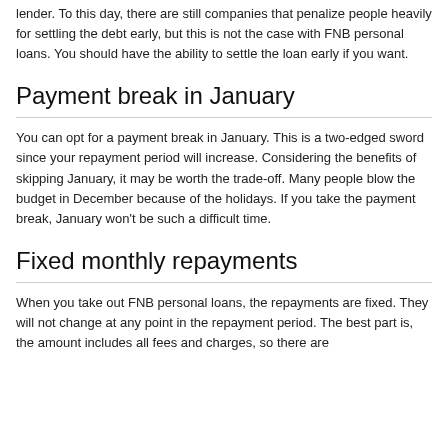lender.  To this day, there are still companies that penalize people heavily for settling the debt early, but this is not the case with FNB personal loans.  You should have the ability to settle the loan early if you want.
Payment break in January
You can opt for a payment break in January.  This is a two-edged sword since your repayment period will increase.  Considering the benefits of skipping January, it may be worth the trade-off.  Many people blow the budget in December because of the holidays.  If you take the payment break, January won't be such a difficult time.
Fixed monthly repayments
When you take out FNB personal loans, the repayments are fixed.  They will not change at any point in the repayment period.  The best part is, the amount includes all fees and charges, so there are